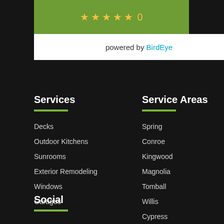[Figure (other): Rating widget with star icons on green background]
powered by BirdEye
Services
Decks
Outdoor Kitchens
Sunrooms
Exterior Remodeling
Windows
Garages
Service Areas
Spring
Conroe
Kingwood
Magnolia
Tomball
Willis
Cypress
Social